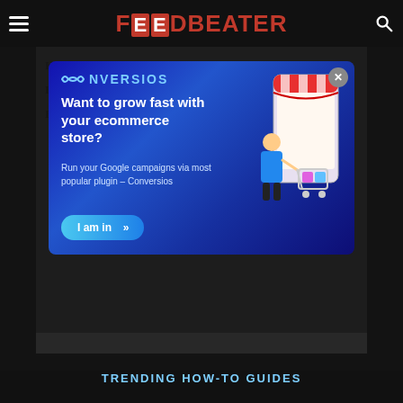FOODBEATER
Keyboard Makes Clicking Noise
Build Your Own Mechanical Keyboard
How to Reduce Keyboard Noise on Mic
[Figure (infographic): CONVERSIOS advertisement modal popup. Dark blue gradient background. Logo 'CONVERSIOS' with infinity symbol. Headline: 'Want to grow fast with your ecommerce store?' Subtext: 'Run your Google campaigns via most popular plugin – Conversios'. Button: 'I am in >>'. Illustration of a woman shopping with a cart next to a large smartphone with a red and white striped awning.]
TRENDING HOW-TO GUIDES